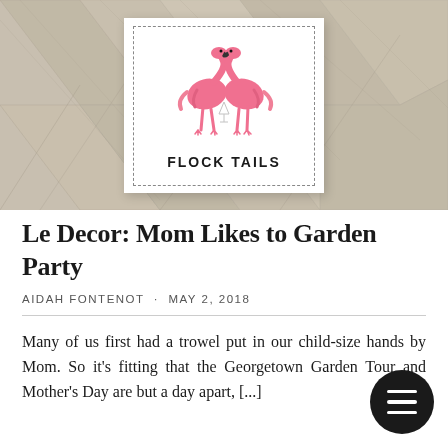[Figure (photo): Photo of a white cocktail napkin with two pink flamingo illustrations and the text 'FLOCK TAILS' in bold letters, placed on a herringbone wood surface.]
Le Decor: Mom Likes to Garden Party
AIDAH FONTENOT · MAY 2, 2018
Many of us first had a trowel put in our child-size hands by Mom. So it's fitting that the Georgetown Garden Tour and Mother's Day are but a day apart, [...]